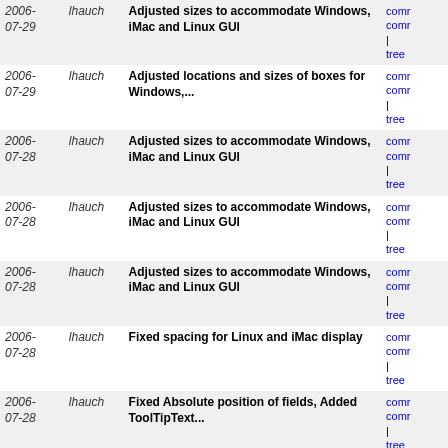| Date | Author | Description | Links |
| --- | --- | --- | --- |
| 2006-07-29 | lhauch | Adjusted sizes to accommodate Windows, iMac and Linux GUI | comm
comm
| tree |
| 2006-07-29 | lhauch | Adjusted locations and sizes of boxes for Windows,... | comm
comm
| tree |
| 2006-07-28 | lhauch | Adjusted sizes to accommodate Windows, iMac and Linux GUI | comm
comm
| tree |
| 2006-07-28 | lhauch | Adjusted sizes to accommodate Windows, iMac and Linux GUI | comm
comm
| tree |
| 2006-07-28 | lhauch | Adjusted sizes to accommodate Windows, iMac and Linux GUI | comm
comm
| tree |
| 2006-07-28 | lhauch | Fixed spacing for Linux and iMac display | comm
comm
| tree |
| 2006-07-28 | lhauch | Fixed Absolute position of fields, Added ToolTipText... | comm
comm
| tree |
| 2006-07-28 | lhauch | Fixed Absolute position of fields, Added ToolTipText... | comm
comm
| tree |
| 2006-07-28 | lhauch | Fixed Absolute position of fields, Added ToolTipText... | comm
comm
| tree |
| 2006-07-27 | lhauch | Fixed Absolute position of fields, Added ToolTipText... | comm
comm
| tree |
| 2006-07-27 | lhauch | Added Tool Tip Text, fixed dimensions after modifying... | comm
comm
| tree |
| 2006-07-26 | lhauch | Fixed a spelling error | comm
comm
| tree |
| 2006-07-26 | lhauch | Adjusted the Help Text field to be a Text Area inside... | comm
comm
| tree |